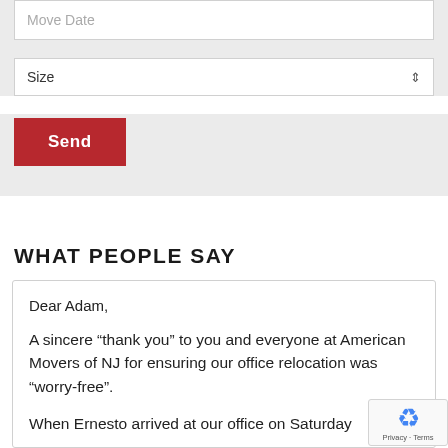Move Date
Size
Send
WHAT PEOPLE SAY
Dear Adam,
A sincere “thank you” to you and everyone at American Movers of NJ for ensuring our office relocation was “worry-free”.
When Ernesto arrived at our office on Saturday